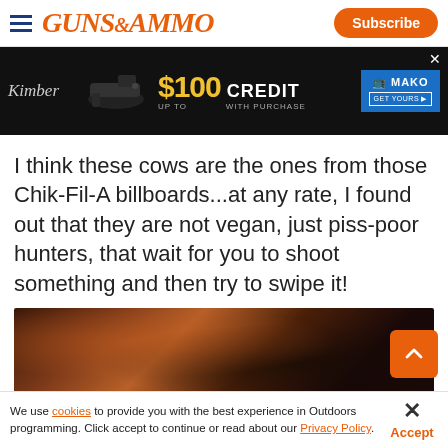Guns & Ammo — Subscribe
[Figure (photo): Kimber advertisement banner: '$100 CREDIT UP TO WITH PURCHASE' and MAKO branding on dark background with handgun image]
I think these cows are the ones from those Chik-Fil-A billboards...at any rate, I found out that they are not vegan, just piss-poor hunters, that wait for you to shoot something and then try to swipe it!
[Figure (photo): Outdoor hunting scene photo — dark, blurry image showing trees and foliage in autumnal colors]
We use cookies to provide you with the best experience in Outdoors programming. Click accept to continue or read about our Privacy Policy.